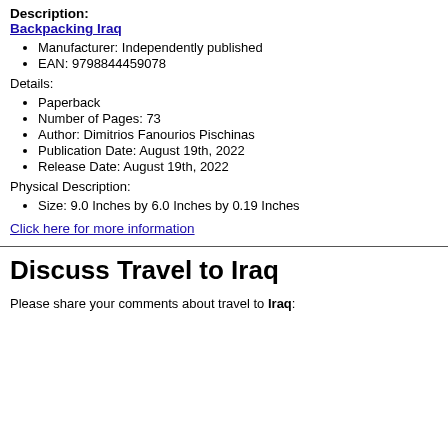Description:
Backpacking Iraq
Manufacturer: Independently published
EAN: 9798844459078
Details:
Paperback
Number of Pages: 73
Author: Dimitrios Fanourios Pischinas
Publication Date: August 19th, 2022
Release Date: August 19th, 2022
Physical Description:
Size: 9.0 Inches by 6.0 Inches by 0.19 Inches
Click here for more information
Discuss Travel to Iraq
Please share your comments about travel to Iraq: